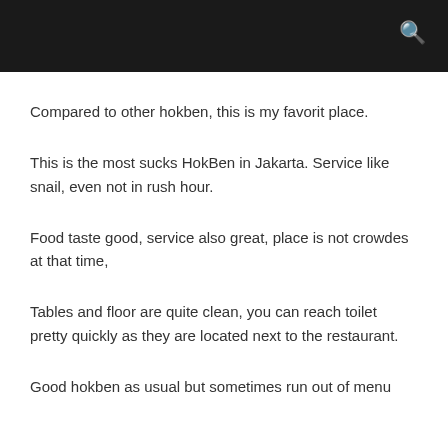Compared to other hokben, this is my favorit place.
This is the most sucks HokBen in Jakarta. Service like snail, even not in rush hour.
Food taste good, service also great, place is not crowdes at that time,
Tables and floor are quite clean, you can reach toilet pretty quickly as they are located next to the restaurant.
Good hokben as usual but sometimes run out of menu